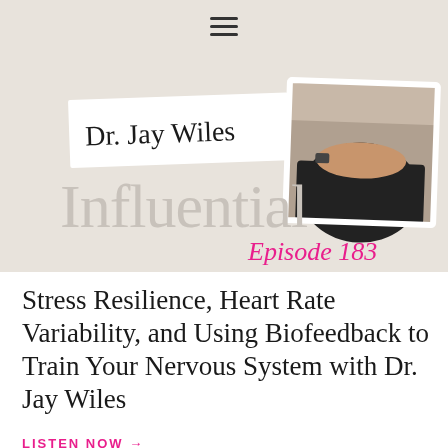☰
[Figure (illustration): Podcast thumbnail image for 'Influential' Episode 183 featuring Dr. Jay Wiles. Shows a white label with 'Dr. Jay Wiles' text, a photo of a person in a black shirt with arms resting on a surface wearing a watch, large light grey text 'Influential' and pink italic text 'Episode 183'.]
Stress Resilience, Heart Rate Variability, and Using Biofeedback to Train Your Nervous System with Dr. Jay Wiles
LISTEN NOW →